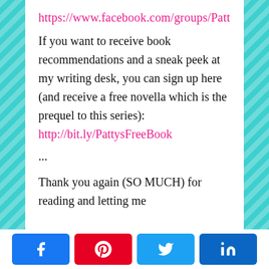https://www.facebook.com/groups/Patt
If you want to receive book recommendations and a sneak peek at my writing desk, you can sign up here (and receive a free novella which is the prequel to this series): http://bit.ly/PattysFreeBook
...
Thank you again (SO MUCH) for reading and letting me
[Figure (infographic): Social sharing buttons: Facebook (blue), Pinterest (red), Twitter (light blue), LinkedIn (dark blue)]